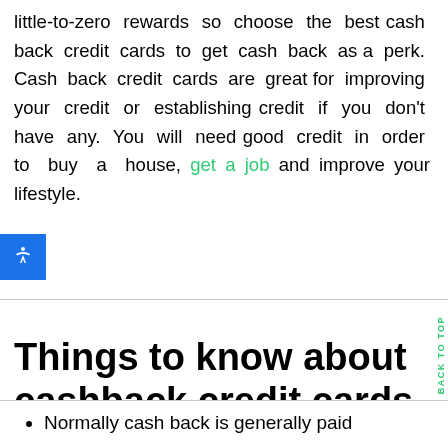little-to-zero rewards so choose the best cash back credit cards to get cash back as a perk. Cash back credit cards are great for improving your credit or establishing credit if you don't have any. You will need good credit in order to buy a house, get a job and improve your lifestyle.
Things to know about cashback credit cards
Normally cash back is generally paid